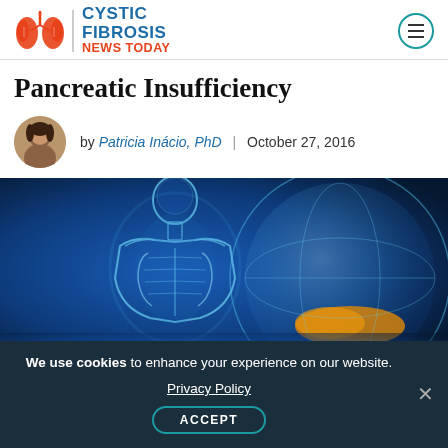Cystic Fibrosis News Today
Pancreatic Insufficiency
by Patricia Inácio, PhD | October 27, 2016
[Figure (illustration): Blue glowing human body illustration showing internal organs with highlighted pancreas area on dark blue background]
We use cookies to enhance your experience on our website. Privacy Policy ACCEPT